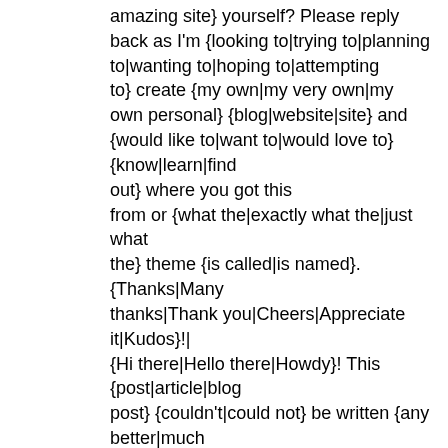amazing site} yourself? Please reply back as I'm {looking to|trying to|planning to|wanting to|hoping to|attempting to} create {my own|my very own|my own personal} {blog|website|site} and {would like to|want to|would love to} {know|learn|find out} where you got this from or {what the|exactly what the|just what the} theme {is called|is named}. {Thanks|Many thanks|Thank you|Cheers|Appreciate it|Kudos}!| {Hi there|Hello there|Howdy}! This {post|article|blog post} {couldn't|could not} be written {any better|much better}! {Reading through|Looking at|Going through|Looking through} this {post|article} reminds me of my previous roommate! He {always|constantly|continually} kept {talking about|preaching about} this. {I will|I'll|I am going to|I most certainly will} {forward|send} {this article|this information|this post} to him. {Pretty sure|Fairly certain} {he will|he'll|he's going to} {have a good|have a very good|have a great} read. {Thank you for|Thanks for|Many thanks for|I appreciate you for} sharing!|